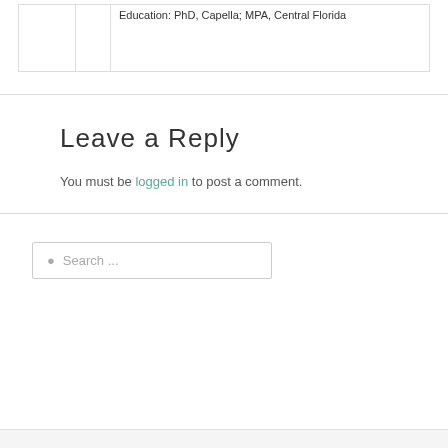|  |  | Education: PhD, Capella; MPA, Central Florida |
Leave a Reply
You must be logged in to post a comment.
Search ...